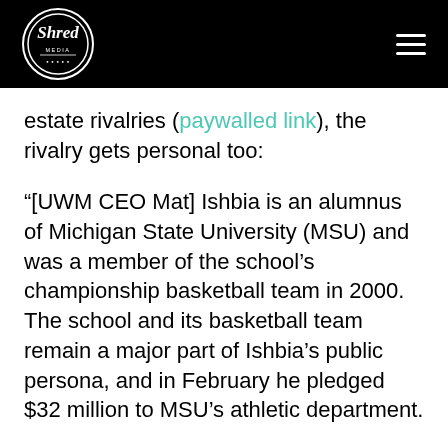Shred Media (logo)
estate rivalries (paywalled link), the rivalry gets personal too:
“[UWM CEO Mat] Ishbia is an alumnus of Michigan State University (MSU) and was a member of the school’s championship basketball team in 2000. The school and its basketball team remain a major part of Ishbia’s public persona, and in February he pledged $32 million to MSU’s athletic department.
However, as it turns out, both Rocket